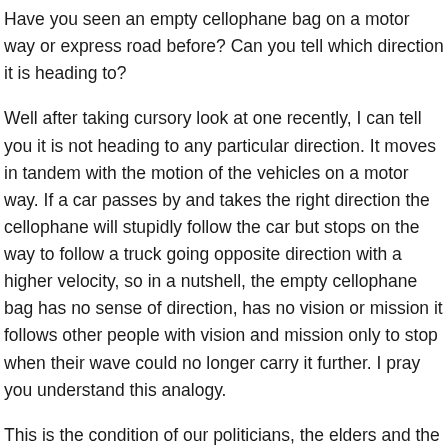Have you seen an empty cellophane bag on a motor way or express road before? Can you tell which direction it is heading to?
Well after taking cursory look at one recently, I can tell you it is not heading to any particular direction. It moves in tandem with the motion of the vehicles on a motor way. If a car passes by and takes the right direction the cellophane will stupidly follow the car but stops on the way to follow a truck going opposite direction with a higher velocity, so in a nutshell, the empty cellophane bag has no sense of direction, has no vision or mission it follows other people with vision and mission only to stop when their wave could no longer carry it further. I pray you understand this analogy.
This is the condition of our politicians, the elders and the opinion moulders of the indigenes of old Eastern region or the Biafrans; which is our original name before the white men stepped into our holy land. Only